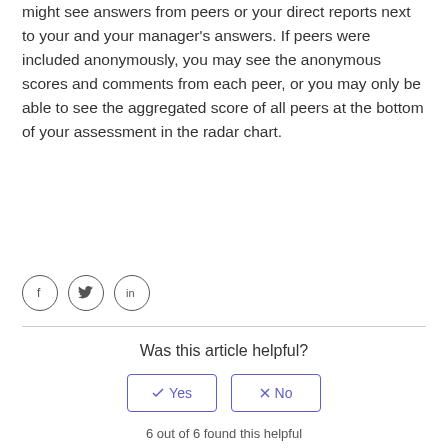might see answers from peers or your direct reports next to your and your manager's answers. If peers were included anonymously, you may see the anonymous scores and comments from each peer, or you may only be able to see the aggregated score of all peers at the bottom of your assessment in the radar chart.
[Figure (infographic): Social share icons: Facebook (f), Twitter (bird), LinkedIn (in)]
Was this article helpful?
Yes
No
6 out of 6 found this helpful